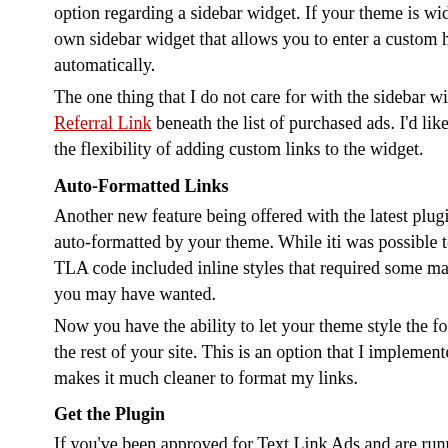option regarding a sidebar widget. If your theme is widget-enabled, T own sidebar widget that allows you to enter a custom heading and th automatically.
The one thing that I do not care for with the sidebar widget is that I lik Referral Link beneath the list of purchased ads. I'd like for their sideb the flexibility of adding custom links to the widget.
Auto-Formatted Links
Another new feature being offered with the latest plugin is the ability t auto-formatted by your theme. While iti was possible to tweak the for TLA code included inline styles that required some manipulation to ge you may have wanted.
Now you have the ability to let your theme style the formatting of the the rest of your site. This is an option that I implemented in the new p makes it much cleaner to format my links.
Get the Plugin
If you've been approved for Text Link Ads and are running WordPres highly recommend that you download and install the new plugin. Eve excited about the sidebar widget and auto-formatting options, you wil another source of links to see within your posts.